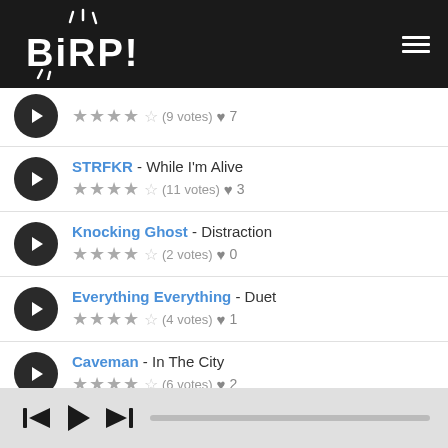BIRP! (logo with hamburger menu)
(partial row) ★★★★☆ (9 votes) ♥ 7
STRFKR - While I'm Alive ★★★★☆ (11 votes) ♥ 3
Knocking Ghost - Distraction ★★★★☆ (2 votes) ♥ 0
Everything Everything - Duet ★★★★☆ (4 votes) ♥ 1
Caveman - In The City ★★★★☆ (6 votes) ♥ 2
Brave Baby - Lakeside Trust
Player controls: previous, play, next | progress bar